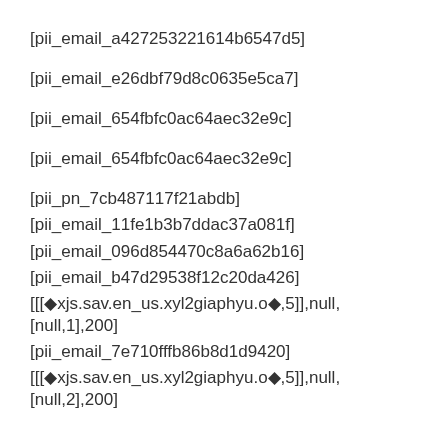[pii_email_a427253221614b6547d5]
[pii_email_e26dbf79d8c0635e5ca7]
[pii_email_654fbfc0ac64aec32e9c]
[pii_email_654fbfc0ac64aec32e9c]
[pii_pn_7cb487117f21abdb]
[pii_email_11fe1b3b7ddac37a081f]
[pii_email_096d854470c8a6a62b16]
[pii_email_b47d29538f12c20da426]
[[[◆xjs.sav.en_us.xyl2giaphyu.o◆,5]],null,[null,1],200]
[pii_email_7e710fffb86b8d1d9420]
[[[◆xjs.sav.en_us.xyl2giaphyu.o◆,5]],null,[null,2],200]